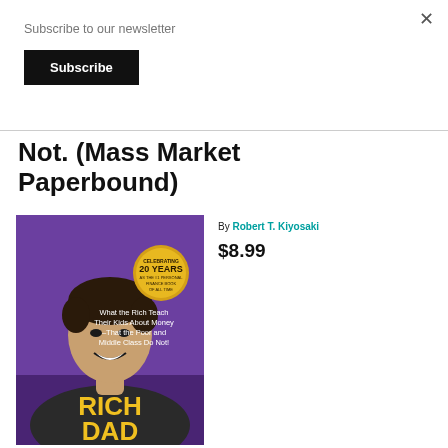Subscribe to our newsletter
Subscribe
Not. (Mass Market Paperbound)
[Figure (photo): Book cover of Rich Dad Poor Dad by Robert T. Kiyosaki. Purple background showing author's face, text 'What the Rich Teach Their Kids About Money –That the Poor and Middle Class Do Not!', gold badge 'Celebrating 20 Years as the #1 Personal Finance Book of All Time', and large yellow text 'RICH DAD' at bottom.]
By Robert T. Kiyosaki
$8.99